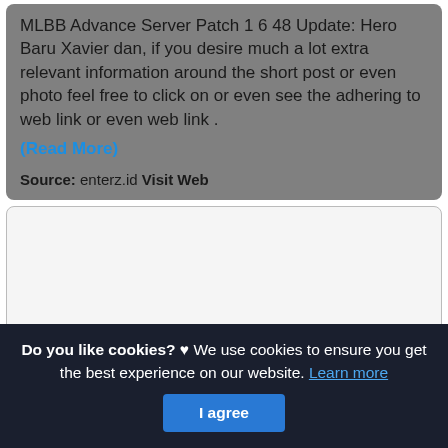MLBB Advance Server Patch 1 6 48 Update: Hero Baru Xavier dan, if you desire much a lot extra relevant information around the short post or even photo feel free to click on or even see the adhering to web link or even web link .
(Read More)
Source: enterz.id Visit Web
[Figure (other): Empty white/light gray card area with border]
Do you like cookies? ♥ We use cookies to ensure you get the best experience on our website. Learn more
I agree